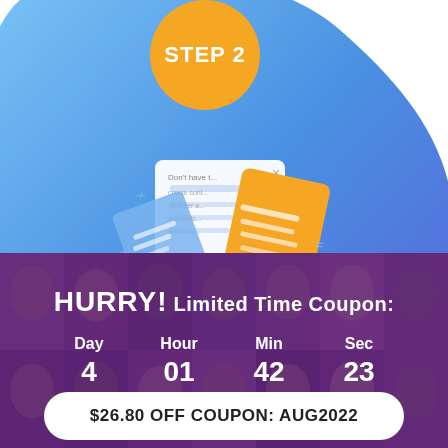[Figure (infographic): Blue organic blob background with orange circle badge saying STEP 2, and illustrated documents/content cards floating in the center]
Add Instant Content
Don't have time to create content? Just enter a URL and watch Sqribble automatically fill your pages with
[Figure (infographic): Purple-overlaid grid of people faces as background for countdown coupon banner. Shows HURRY! Limited Time Coupon: with countdown Day 4, Hour 01, Min 42, Sec 23, and a white pill button showing $26.80 OFF COUPON: AUG2022]